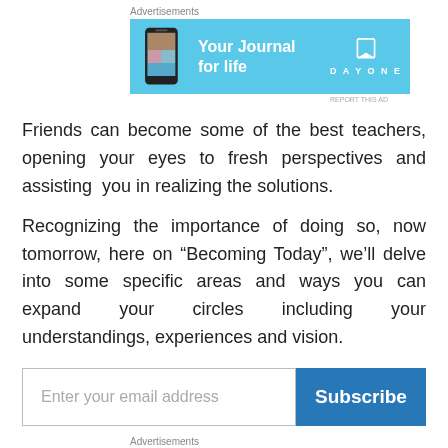[Figure (other): Advertisement banner for Day One journal app. Sky blue background with phone image on left, text 'Your Journal for life' in white, and DAYONE logo with bookmark icon on right.]
Friends can become some of the best teachers, opening your eyes to fresh perspectives and assisting  you in realizing the solutions.
Recognizing the importance of doing so, now tomorrow, here on “Becoming Today”, we’ll delve into some specific areas and ways you can expand your circles including your understandings, experiences and vision.
[Figure (other): Email subscription form with text input placeholder 'Enter your email address' and blue 'Subscribe' button.]
[Figure (other): Second advertisement section at bottom with label 'Advertisements' and a light beige/tan colored banner beginning to show.]